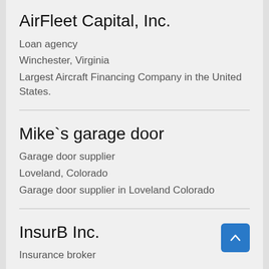AirFleet Capital, Inc.
Loan agency
Winchester, Virginia
Largest Aircraft Financing Company in the United States.
Mike`s garage door
Garage door supplier
Loveland, Colorado
Garage door supplier in Loveland Colorado
InsurB Inc.
Insurance broker